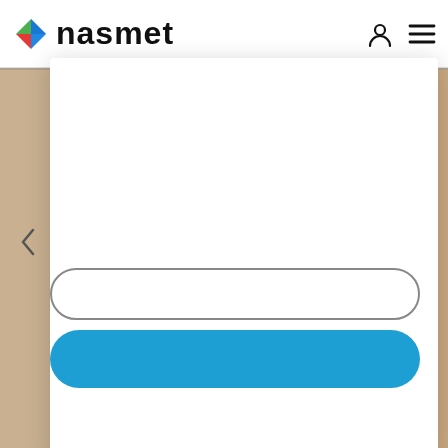[Figure (screenshot): Nasmet website screenshot showing navigation bar with logo (diamond icon and 'nasmet' text), user icon, and hamburger menu. A white modal/dropdown card overlays the page. Below the card are a rounded input field with grey border and a solid blue rounded button. Background shows blurred product images on left and right sides.]